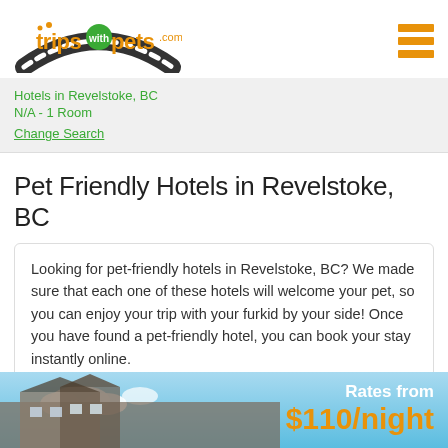[Figure (logo): TripswithPets.com logo - orange text with road graphic]
Hotels in Revelstoke, BC
N/A - 1 Room
Change Search
Pet Friendly Hotels in Revelstoke, BC
Looking for pet-friendly hotels in Revelstoke, BC? We made sure that each one of these hotels will welcome your pet, so you can enjoy your trip with your furkid by your side! Once you have found a pet-friendly hotel, you can book your stay instantly online.
[Figure (photo): Hotel building exterior with blue sky, showing 'Rates from $110/night' overlay text]